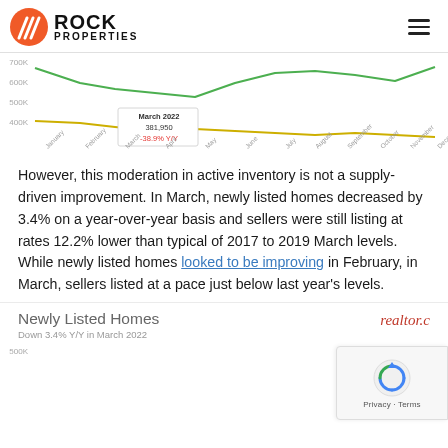ROCK PROPERTIES
[Figure (line-chart): Partial line chart showing active inventory over months (January through December). Green line at approximately 600K level with a tooltip showing March 2022: 381,950, -38.9% Y/Y. Yellow/gold line at approximately 400K level.]
However, this moderation in active inventory is not a supply-driven improvement. In March, newly listed homes decreased by 3.4% on a year-over-year basis and sellers were still listing at rates 12.2% lower than typical of 2017 to 2019 March levels. While newly listed homes looked to be improving in February, in March, sellers listed at a pace just below last year's levels.
Newly Listed Homes
Down 3.4% Y/Y in March 2022
[Figure (line-chart): Partial bottom of page line chart for Newly Listed Homes, Down 3.4% Y/Y in March 2022. Y-axis label 500K visible at bottom.]